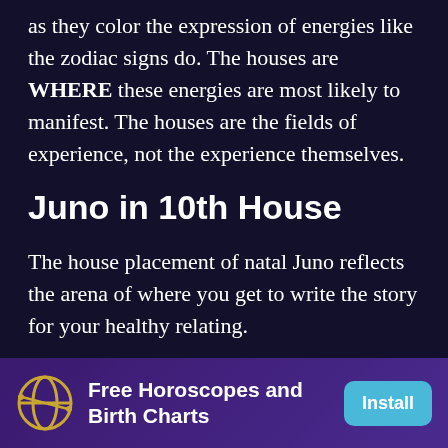as they color the expression of energies like the zodiac signs do. The houses are WHERE these energies are most likely to manifest. The houses are the fields of experience, not the experience themselves.
Juno in 10th House
The house placement of natal Juno reflects the arena of where you get to write the story for your healthy relating.
In the tenth house of your career and public
Free Horoscopes and Birth Charts
Install